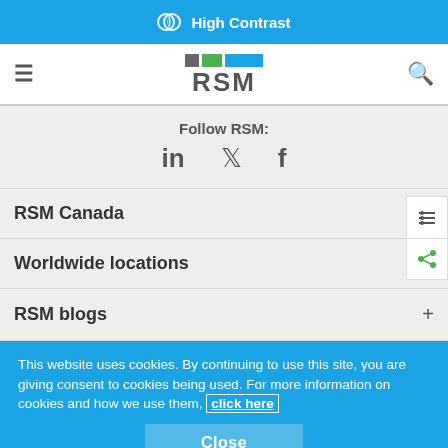High Contrast
[Figure (logo): RSM logo with colored squares and RSM text]
Follow RSM:
[Figure (illustration): Social media icons: LinkedIn, Twitter, Facebook]
RSM Canada
Worldwide locations
RSM blogs
This website uses cookies. By continuing to use this site, you are giving consent to cookies being used. For more information on cookies and how we use them, click here
Close